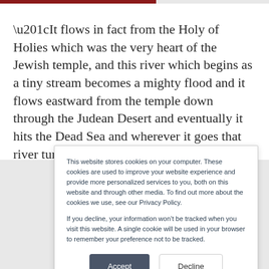“It flows in fact from the Holy of Holies which was the very heart of the Jewish temple, and this river which begins as a tiny stream becomes a mighty flood and it flows eastward from the temple down through the Judean Desert and eventually it hits the Dead Sea and wherever it goes that river turns death to life the desert
This website stores cookies on your computer. These cookies are used to improve your website experience and provide more personalized services to you, both on this website and through other media. To find out more about the cookies we use, see our Privacy Policy.

If you decline, your information won’t be tracked when you visit this website. A single cookie will be used in your browser to remember your preference not to be tracked.